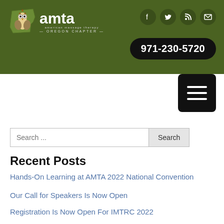[Figure (logo): AMTA Oregon Chapter logo with owl and state silhouette]
[Figure (infographic): Social media icons: Facebook, Twitter, RSS, Email in dark circles]
971-230-5720
[Figure (infographic): Hamburger menu icon (three white bars on black rounded square)]
Search ...
Recent Posts
Hands-On Learning at AMTA 2022 National Convention
Our Call for Speakers Is Now Open
Registration Is Now Open For IMTRC 2022